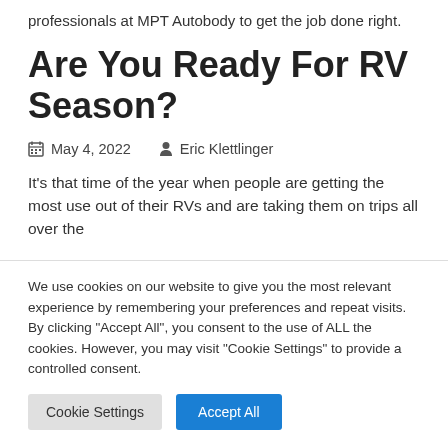professionals at MPT Autobody to get the job done right.
Are You Ready For RV Season?
May 4, 2022   Eric Klettlinger
It's that time of the year when people are getting the most use out of their RVs and are taking them on trips all over the
We use cookies on our website to give you the most relevant experience by remembering your preferences and repeat visits. By clicking "Accept All", you consent to the use of ALL the cookies. However, you may visit "Cookie Settings" to provide a controlled consent.